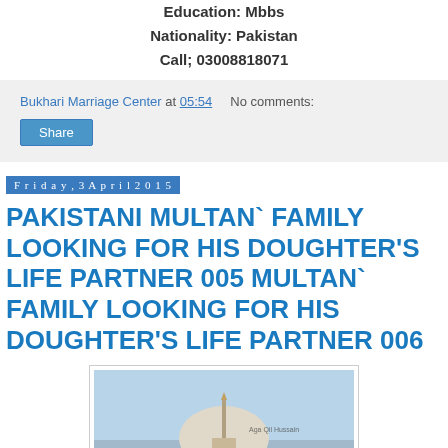Education: Mbbs
Nationality: Pakistan
Call; 03008818071
Bukhari Marriage Center at 05:54   No comments:
Share
Friday, 3 April 2015
PAKISTANI MULTAN` FAMILY LOOKING FOR HIS DOUGHTER'S LIFE PARTNER 005 MULTAN` FAMILY LOOKING FOR HIS DOUGHTER'S LIFE PARTNER 006
[Figure (photo): Photograph of a mosque with white dome and minaret against a light blue sky]